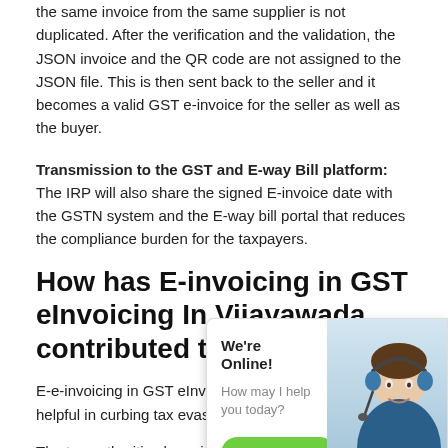the same invoice from the same supplier is not duplicated. After the verification and the validation, the JSON invoice and the QR code are not assigned to the JSON file. This is then sent back to the seller and it becomes a valid GST e-invoice for the seller as well as the buyer.
Transmission to the GST and E-way Bill platform: The IRP will also share the signed E-invoice date with the GSTN system and the E-way bill portal that reduces the compliance burden for the taxpayers.
How has E-invoicing in GST eInvoicing In Vijayawada contributed to taxation?
E-e-invoicing in GST eInvoicing in Vijayawada would be helpful in curbing tax evasion in many ways.
[Figure (photo): Chat widget overlay showing a customer service representative with headset, a 'We're Online!' message, 'How may I help you today?' text, and a green 'Chat now' button.]
The tax authorities have instant access to the transactions as they are generated quickly and are generating on the